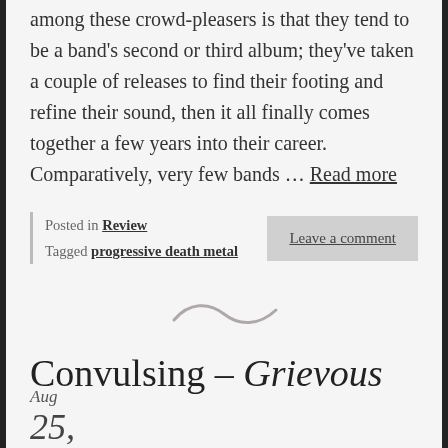among these crowd-pleasers is that they tend to be a band's second or third album; they've taken a couple of releases to find their footing and refine their sound, then it all finally comes together a few years into their career. Comparatively, very few bands … Read more
Posted in Review
Tagged progressive death metal
Leave a comment
[Figure (illustration): Decorative tilde/wave divider symbol]
Convulsing – Grievous
Aug
25,